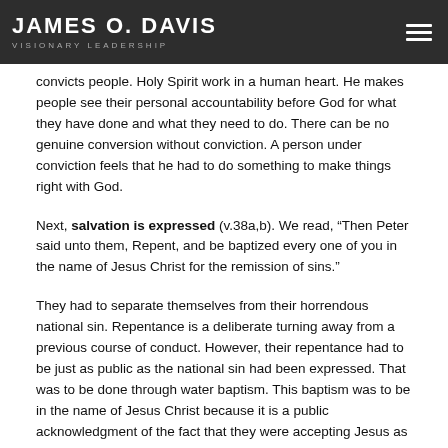JAMES O. DAVIS | VISIONARY LEADERSHIP
convicts people. Holy Spirit work in a human heart. He makes people see their personal accountability before God for what they have done and what they need to do. There can be no genuine conversion without conviction. A person under conviction feels that he had to do something to make things right with God.
Next, salvation is expressed (v.38a,b). We read, “Then Peter said unto them, Repent, and be baptized every one of you in the name of Jesus Christ for the remission of sins.”
They had to separate themselves from their horrendous national sin. Repentance is a deliberate turning away from a previous course of conduct. However, their repentance had to be just as public as the national sin had been expressed. That was to be done through water baptism. This baptism was to be in the name of Jesus Christ because it is a public acknowledgment of the fact that they were accepting Jesus as Saviour from sin. Peter was proclaiming an end to animal sacrifice as a way for forgiveness of